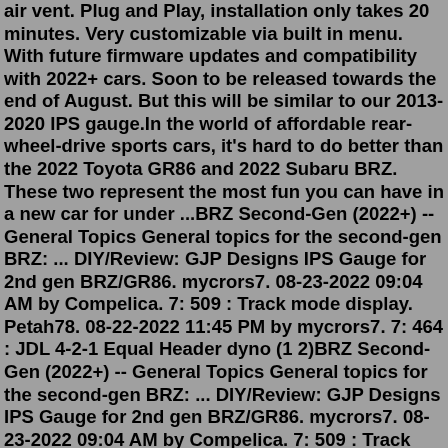air vent. Plug and Play, installation only takes 20 minutes. Very customizable via built in menu. With future firmware updates and compatibility with 2022+ cars. Soon to be released towards the end of August. But this will be similar to our 2013-2020 IPS gauge.In the world of affordable rear-wheel-drive sports cars, it's hard to do better than the 2022 Toyota GR86 and 2022 Subaru BRZ. These two represent the most fun you can have in a new car for under ...BRZ Second-Gen (2022+) -- General Topics General topics for the second-gen BRZ: ... DIY/Review: GJP Designs IPS Gauge for 2nd gen BRZ/GR86. mycrors7. 08-23-2022 09:04 AM by Compelica. 7: 509 : Track mode display. Petah78. 08-22-2022 11:45 PM by mycrors7. 7: 464 : JDL 4-2-1 Equal Header dyno (1 2)BRZ Second-Gen (2022+) -- General Topics General topics for the second-gen BRZ: ... DIY/Review: GJP Designs IPS Gauge for 2nd gen BRZ/GR86. mycrors7. 08-23-2022 09:04 AM by Compelica. 7: 509 : Track mode display. Petah78. 08-22-2022 11:45 PM by mycrors7. 7: 464 : JDL 4-2-1 Equal Header dyno (1 2)The 2022